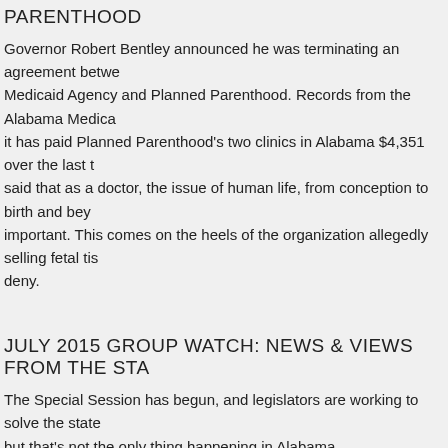PARENTHOOD
Governor Robert Bentley announced he was terminating an agreement between the Medicaid Agency and Planned Parenthood. Records from the Alabama Medicaid show it has paid Planned Parenthood's two clinics in Alabama $4,351 over the last two years. He said that as a doctor, the issue of human life, from conception to birth and beyond, was very important. This comes on the heels of the organization allegedly selling fetal tissue, which they deny.
JULY 2015 GROUP WATCH: NEWS & VIEWS FROM THE STA
The Special Session has begun, and legislators are working to solve the state's budget woes, but that's not the only thing happening in Alabama.
Special Session Called. With very little notice and in an unexpected move, Governor Robert Bentley called the Alabama Legislature into a special session starting this past Monday. A special session was inevitable, but most thought it would be called in August. The legislators met for a few minutes on Monday afternoon and then recessed for three weeks; they are now expected to reconvene on August 3. The governor called on the legislature to pass a General Fund budget, pass revenue measures needed to adequately fund the General Fund budget, budget reform measures and an economic development bond issue for improvement at Gulf State Park. (See the governor's proclamation)